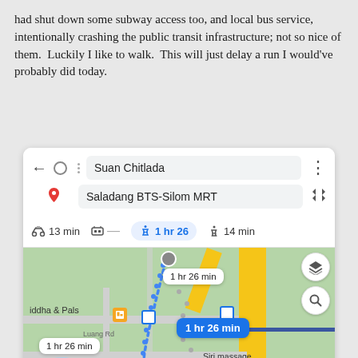had shut down some subway access too, and local bus service, intentionally crashing the public transit infrastructure; not so nice of them.  Luckily I like to walk.  This will just delay a run I would've probably did today.
[Figure (screenshot): Google Maps screenshot showing walking directions from Suan Chitlada to Saladang BTS-Silom MRT. Options show 13 min by bike, transit unavailable, 1 hr 26 min walking (selected/highlighted), and 14 min by another mode. The map shows a walking route with blue dotted path and labels showing '1 hr 26 min' at multiple points.]